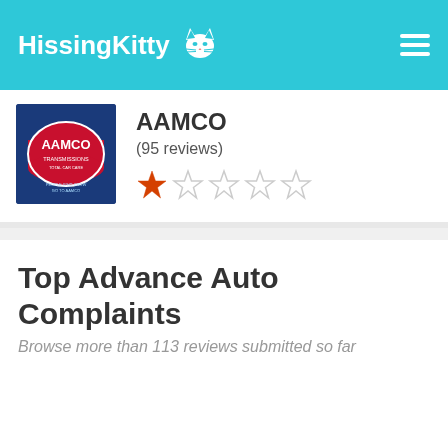HissingKitty
[Figure (logo): AAMCO Transmissions logo on dark blue background]
AAMCO
(95 reviews)
[Figure (other): Star rating: 1 out of 5 stars]
Top Advance Auto Complaints
Browse more than 113 reviews submitted so far